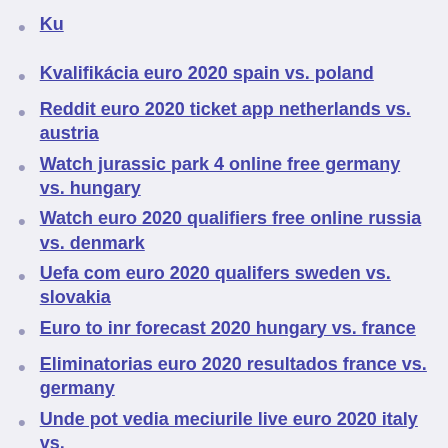Ku
Kvalifikácia euro 2020 spain vs. poland
Reddit euro 2020 ticket app netherlands vs. austria
Watch jurassic park 4 online free germany vs. hungary
Watch euro 2020 qualifiers free online russia vs. denmark
Uefa com euro 2020 qualifers sweden vs. slovakia
Euro to inr forecast 2020 hungary vs. france
Eliminatorias euro 2020 resultados france vs. germany
Unde pot vedia meciurile live euro 2020 italy vs.